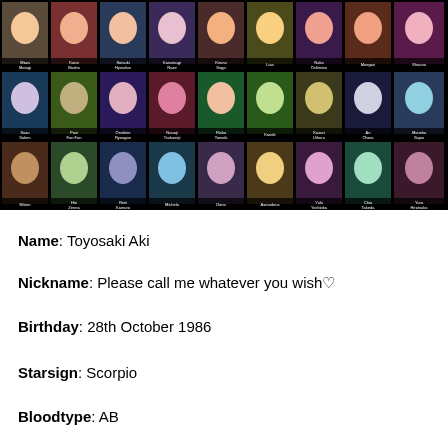[Figure (illustration): Anime character grid showing 27 characters arranged in 3 rows of 9, each with a portrait image and name label below on a black background. Row 1: Miwa Matagi, Koroi Basha, Satsuki Hyoudou, Kanatsugi Naze, Kiruna Soga, Lisa, Nako Oshimizu, Maegari, Shauno. Row 2: Suzu Salem, Pani Fan Fan, Onshine Ryougan, Naoaji Tsukuneji, Rinko Tamaki, Kaede, Kazari Uiharu, An Ohara, Maneka Sajou. Row 3: Mirian, Hie Zenna, Reiri Kamura, Michela, Dona, Asmodeus, Yuki Yoshioka, Chia Takeda, Yura Hiratsuka]
Name: Toyosaki Aki
Nickname: Please call me whatever you wish♡
Birthday: 28th October 1986
Starsign: Scorpio
Bloodtype: AB